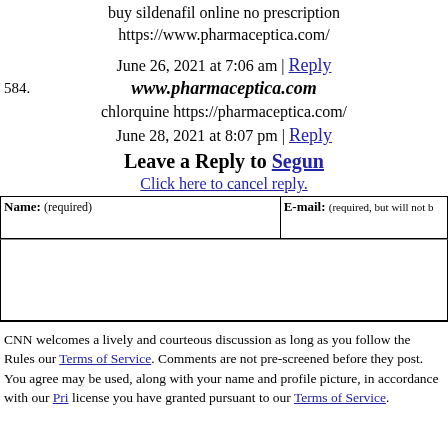buy sildenafil online no prescription https://www.pharmaceptica.com/
June 26, 2021 at 7:06 am | Reply
584. www.pharmaceptica.com
chlorquine https://pharmaceptica.com/
June 28, 2021 at 8:07 pm | Reply
Leave a Reply to Segun
Click here to cancel reply.
| Name: (required) | E-mail: (required, but will not …) |
| --- | --- |
|  |  |
CNN welcomes a lively and courteous discussion as long as you follow the Rules our Terms of Service. Comments are not pre-screened before they post. You agree may be used, along with your name and profile picture, in accordance with our Pri license you have granted pursuant to our Terms of Service.